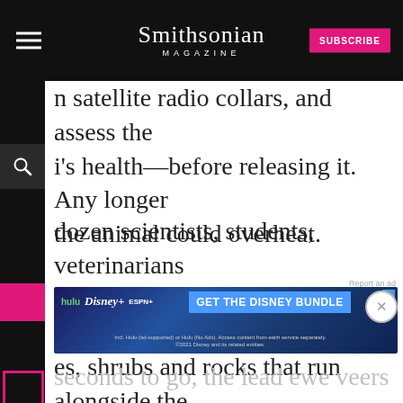Smithsonian MAGAZINE
n satellite radio collars, and assess the i's health—before releasing it. Any longer the animal could overheat.
dozen scientists, students, veterinarians volunteers wait silently, hidden behind es, shrubs and rocks that run alongside the ard stretch of collapsible netting. The team only three satellite radio collars left. A essful capture would mean an end to the
[Figure (screenshot): Disney Bundle advertisement banner featuring Hulu, Disney+, and ESPN+ logos with 'GET THE DISNEY BUNDLE' call-to-action button]
seconds to go, the lead ewe veers away